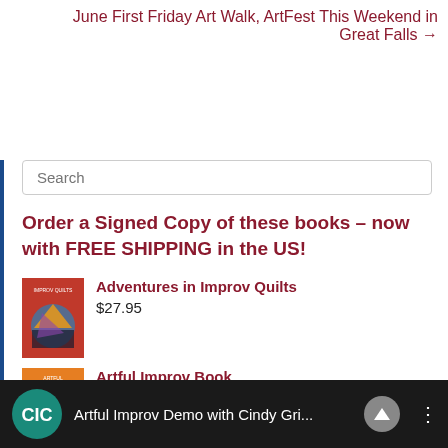June First Friday Art Walk, ArtFest This Weekend in Great Falls →
Search
Order a Signed Copy of these books – now with FREE SHIPPING in the US!
[Figure (photo): Book cover for Adventures in Improv Quilts]
Adventures in Improv Quilts
$27.95
[Figure (photo): Book cover for Artful Improv Book]
Artful Improv Book
$27.95  $25.00
[Figure (screenshot): Video bar showing Artful Improv Demo with Cindy Gri... with teal logo, up arrow button, and three-dot menu]